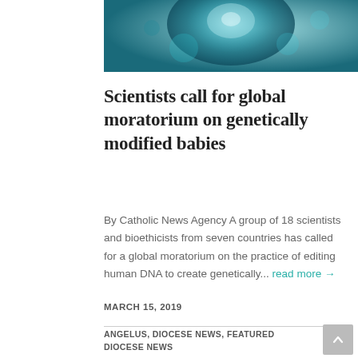[Figure (photo): Close-up photo of a cell or embryo in teal/blue tones, possibly a scientific microscopy image]
Scientists call for global moratorium on genetically modified babies
By Catholic News Agency A group of 18 scientists and bioethicists from seven countries has called for a global moratorium on the practice of editing human DNA to create genetically... read more →
MARCH 15, 2019
ANGELUS, DIOCESE NEWS, FEATURED DIOCESE NEWS